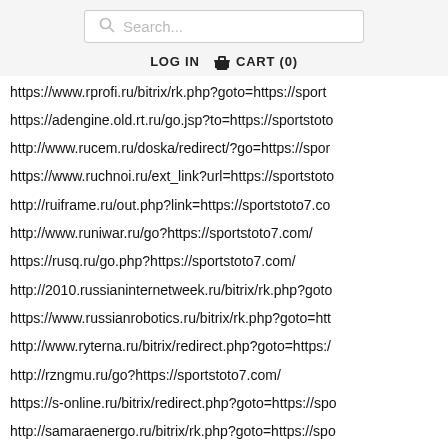Search...  LOG IN  CART (0)
https://www.rprofi.ru/bitrix/rk.php?goto=https://sport
https://adengine.old.rt.ru/go.jsp?to=https://sportstoto
http://www.rucem.ru/doska/redirect/?go=https://spor
https://www.ruchnoi.ru/ext_link?url=https://sportstoto
http://ruiframe.ru/out.php?link=https://sportstoto7.co
http://www.runiwar.ru/go?https://sportstoto7.com/
https://rusq.ru/go.php?https://sportstoto7.com/
http://2010.russianinternetweek.ru/bitrix/rk.php?goto
https://www.russianrobotics.ru/bitrix/rk.php?goto=htt
http://www.ryterna.ru/bitrix/redirect.php?goto=https:/
http://rzngmu.ru/go?https://sportstoto7.com/
https://s-online.ru/bitrix/redirect.php?goto=https://spo
http://samaraenergo.ru/bitrix/rk.php?goto=https://spo
https://www.samovar-forum.ru/go?https://sportstoto7